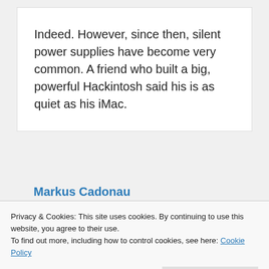Indeed. However, since then, silent power supplies have become very common. A friend who built a big, powerful Hackintosh said his is as quiet as his iMac.
Markus Cadonau
Privacy & Cookies: This site uses cookies. By continuing to use this website, you agree to their use.
To find out more, including how to control cookies, see here: Cookie Policy
(much) louder once the CPU load increases. The iMac 5K is quiet but